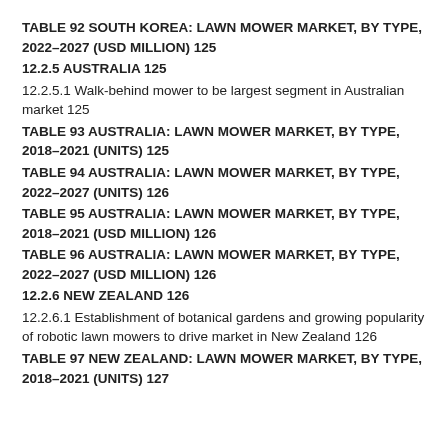TABLE 92 SOUTH KOREA: LAWN MOWER MARKET, BY TYPE, 2022–2027 (USD MILLION) 125
12.2.5 AUSTRALIA 125
12.2.5.1 Walk-behind mower to be largest segment in Australian market 125
TABLE 93 AUSTRALIA: LAWN MOWER MARKET, BY TYPE, 2018–2021 (UNITS) 125
TABLE 94 AUSTRALIA: LAWN MOWER MARKET, BY TYPE, 2022–2027 (UNITS) 126
TABLE 95 AUSTRALIA: LAWN MOWER MARKET, BY TYPE, 2018–2021 (USD MILLION) 126
TABLE 96 AUSTRALIA: LAWN MOWER MARKET, BY TYPE, 2022–2027 (USD MILLION) 126
12.2.6 NEW ZEALAND 126
12.2.6.1 Establishment of botanical gardens and growing popularity of robotic lawn mowers to drive market in New Zealand 126
TABLE 97 NEW ZEALAND: LAWN MOWER MARKET, BY TYPE, 2018–2021 (UNITS) 127